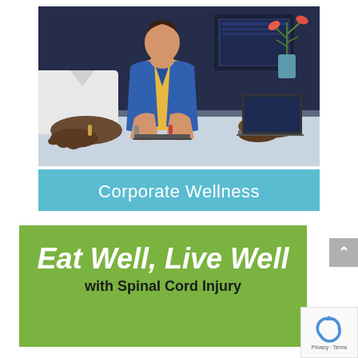[Figure (photo): Office workers sitting at a desk working on laptops; a woman in a blue blazer and yellow top is prominently visible in the center, with a plant in the background and a man in white shirt on the left foreground.]
Corporate Wellness
Eat Well, Live Well with Spinal Cord Injury
[Figure (logo): reCAPTCHA badge with Privacy and Terms links]